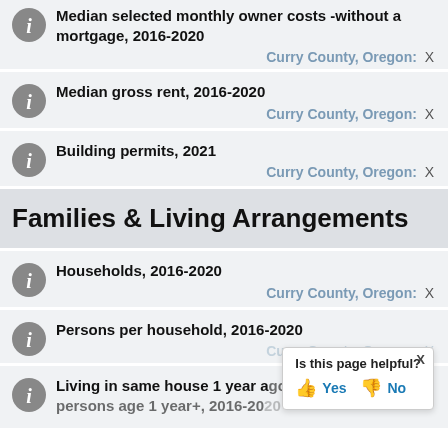Median selected monthly owner costs -without a mortgage, 2016-2020
Curry County, Oregon: X
Median gross rent, 2016-2020
Curry County, Oregon: X
Building permits, 2021
Curry County, Oregon: X
Families & Living Arrangements
Households, 2016-2020
Curry County, Oregon: X
Persons per household, 2016-2020
Curry County, Oregon: X
Living in same house 1 year ago, persons age 1 year+, 2016-2020